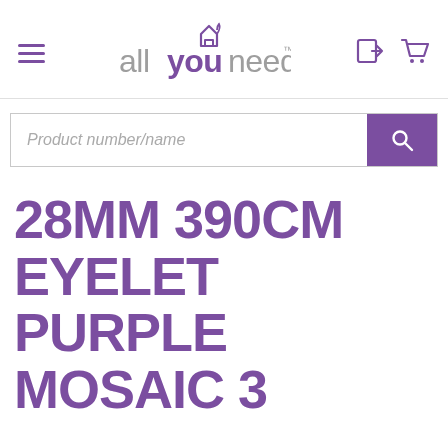[Figure (logo): allyouneed logo with house/crown icon above 'you', purple and grey colors]
Product number/name
28MM 390CM EYELET PURPLE MOSAIC 3 SIDED PRO BAY POLE SET CHROME